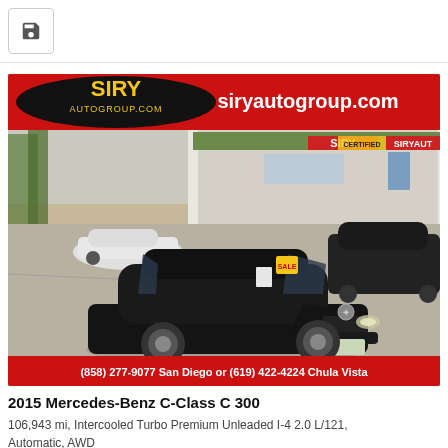[Figure (photo): Save/bookmark icon button — floppy disk icon in a square bordered button]
[Figure (photo): Car dealership advertisement photo for Siry Auto Group showing a black 2015 Mercedes-Benz C-Class C 300 at the Siry Auto Group dealership lot. Red banner at top with SIRY AUTOGROUP.COM logo and siryautogroup.com text. Red banner at bottom with phone numbers: (858) 277-9077 San Diego or (619) 422-4224 Chula Vista.]
2015 Mercedes-Benz C-Class C 300
106,943 mi, Intercooled Turbo Premium Unleaded I-4 2.0 L/121, Automatic, AWD